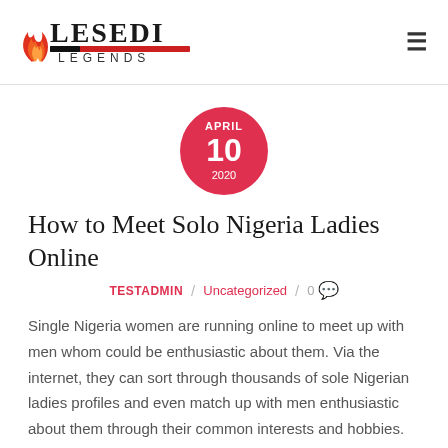LESEDI LEGENDS
[Figure (logo): Lesedi Legends logo with flame icon and red striped underline]
APRIL 10 2020
How to Meet Solo Nigeria Ladies Online
TESTADMIN / Uncategorized / 0
Single Nigeria women are running online to meet up with men whom could be enthusiastic about them. Via the internet, they can sort through thousands of sole Nigerian ladies profiles and even match up with men enthusiastic about them through their common interests and hobbies.